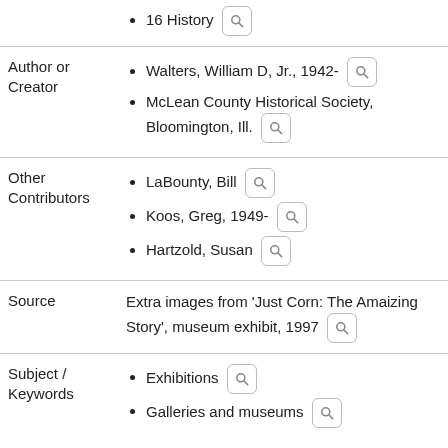16 History
Author or Creator
Walters, William D, Jr., 1942-
McLean County Historical Society, Bloomington, Ill.
Other Contributors
LaBounty, Bill
Koos, Greg, 1949-
Hartzold, Susan
Source
Extra images from 'Just Corn: The Amaizing Story', museum exhibit, 1997
Subject / Keywords
Exhibitions
Galleries and museums